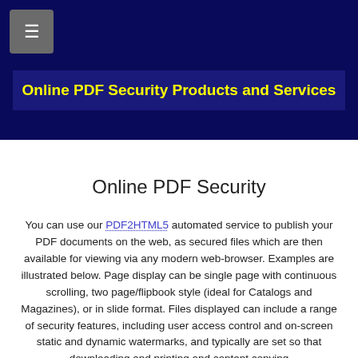[Figure (other): Navigation menu button with hamburger icon on dark navy background]
Online PDF Security Products and Services
Online PDF Security
You can use our PDF2HTML5 automated service to publish your PDF documents on the web, as secured files which are then available for viewing via any modern web-browser. Examples are illustrated below. Page display can be single page with continuous scrolling, two page/flipbook style (ideal for Catalogs and Magazines), or in slide format. Files displayed can include a range of security features, including user access control and on-screen static and dynamic watermarks, and typically are set so that downloading and printing and content copying